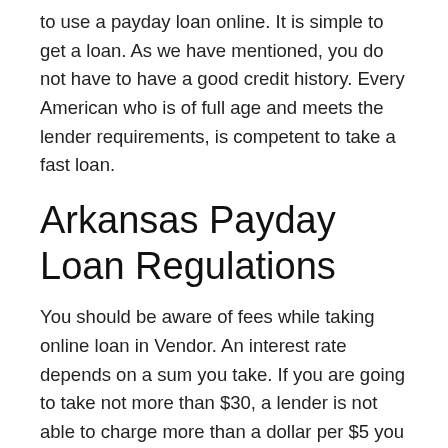to use a payday loan online. It is simple to get a loan. As we have mentioned, you do not have to have a good credit history. Every American who is of full age and meets the lender requirements, is competent to take a fast loan.
Arkansas Payday Loan Regulations
You should be aware of fees while taking online loan in Vendor. An interest rate depends on a sum you take. If you are going to take not more than $30, a lender is not able to charge more than a dollar per $5 you take. If you take $100 loan and is going to pay it out within 14 days, the annual percentage would be 309%.
If you want a loan in the sum between $40 and $100...